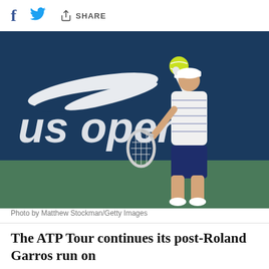f [Facebook] [Twitter] SHARE
[Figure (photo): A male tennis player serving at the US Open, wearing a white striped polo shirt, white cap, and navy shorts, reaching up to toss the ball against a large dark blue US Open banner backdrop. Photo by Matthew Stockman/Getty Images.]
Photo by Matthew Stockman/Getty Images
The ATP Tour continues its post-Roland Garros run on